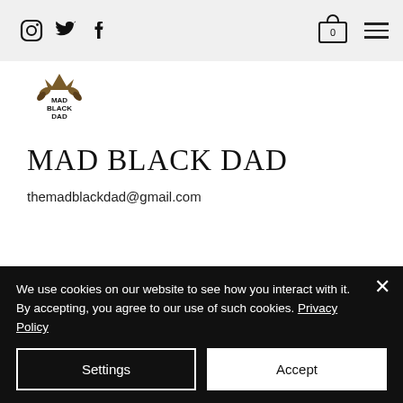Social icons: Instagram, Twitter, Facebook | Cart (0) | Hamburger menu
[Figure (logo): Mad Black Dad logo with crown and laurel graphic above text MAD BLACK DAD]
MAD BLACK DAD
themadblackdad@gmail.com
We use cookies on our website to see how you interact with it. By accepting, you agree to our use of such cookies. Privacy Policy
Settings | Accept